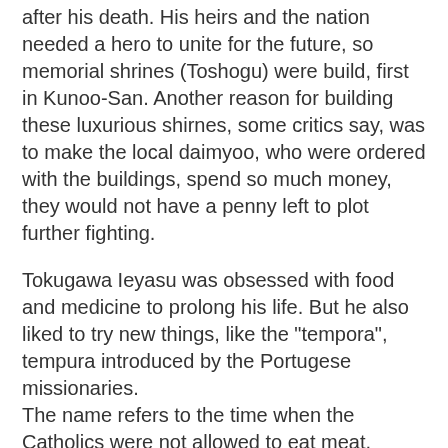after his death. His heirs and the nation needed a hero to unite for the future, so memorial shrines (Toshogu) were build, first in Kunoo-San. Another reason for building these luxurious shirnes, some critics say, was to make the local daimyoo, who were ordered with the buildings, spend so much money, they would not have a penny left to plot further fighting.
Tokugawa Ieyasu was obsessed with food and medicine to prolong his life. But he also liked to try new things, like the "tempora", tempura introduced by the Portugese missionaries.
The name refers to the time when the Catholics were not allowed to eat meat, quattuor tempora.
Ieyasu ate too much of it one day, became sick and died shortly after !
More details about his life:
http://www.samurai-archives.com/ieyasu.html
Latest research found that Ieyasu did not die of food poisoning or stomach cancer, but of a cancer of the